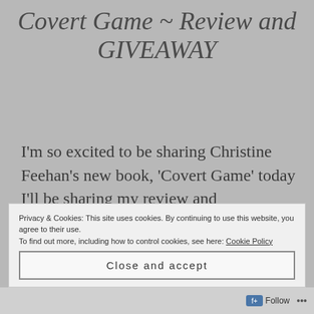Covert Game ~ Review and GIVEAWAY
I'm so excited to be sharing Christine Feehan's new book, 'Covert Game' today I'll be sharing my review and GIVEAWAY! But first, a bit about the book.
Privacy & Cookies: This site uses cookies. By continuing to use this website, you agree to their use. To find out more, including how to control cookies, see here: Cookie Policy
Close and accept